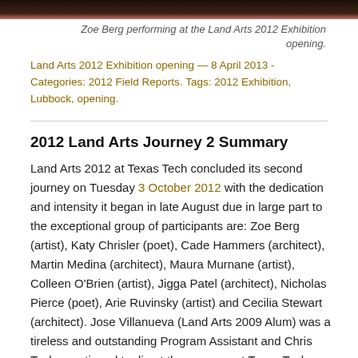[Figure (photo): Dark photo bar at top of page showing Zoe Berg performing at the Land Arts 2012 Exhibition opening]
Zoe Berg performing at the Land Arts 2012 Exhibition opening.
Land Arts 2012 Exhibition opening — 8 April 2013 - Categories: 2012 Field Reports. Tags: 2012 Exhibition, Lubbock, opening.
2012 Land Arts Journey 2 Summary
Land Arts 2012 at Texas Tech concluded its second journey on Tuesday 3 October 2012 with the dedication and intensity it began in late August due in large part to the exceptional group of participants are: Zoe Berg (artist), Katy Chrisler (poet), Cade Hammers (architect), Martin Medina (architect), Maura Murnane (artist), Colleen O'Brien (artist), Jigga Patel (architect), Nicholas Pierce (poet), Arie Ruvinsky (artist) and Cecilia Stewart (architect). Jose Villanueva (Land Arts 2009 Alum) was a tireless and outstanding Program Assistant and Chris Taylor continued to direct the program at Texas Tech.